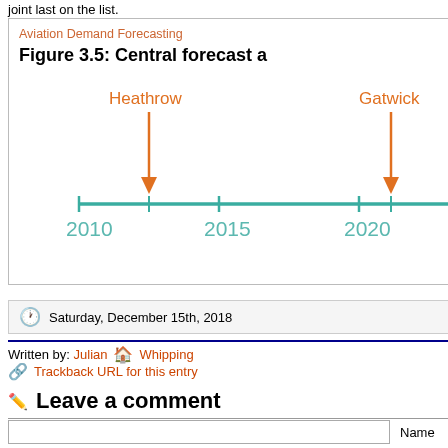joint last on the list.
Aviation Demand Forecasting
Figure 3.5: Central forecast a
[Figure (other): Timeline diagram showing Heathrow and Gatwick capacity constraint dates, with orange arrows pointing to positions on a teal horizontal timeline. Timeline shows years 2010, 2015, 2020.]
Saturday, December 15th, 2018
Written by: Julian   Whipping
Trackback URL for this entry
Leave a comment
Name
February 2008
January 2008
December 2007
November 2007
October 2007
September 2007
August 2007
July 2007
June 2007
May